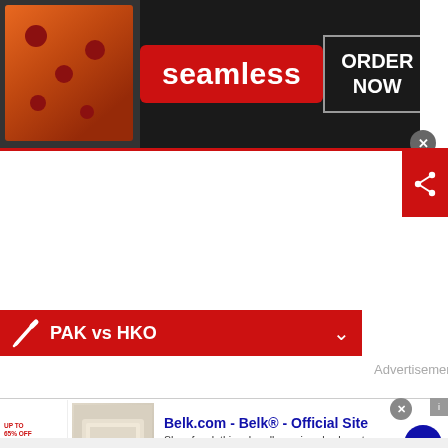[Figure (screenshot): Seamless food delivery banner advertisement with pizza image on the left, 'seamless' red badge in center, and 'ORDER NOW' button on right, with close X button]
[Figure (screenshot): Red share button icon on right side]
[Figure (screenshot): PAK vs HKO cricket score bar with cricket bat icon, match name and chevron dropdown]
Start Time - 7:30 PM
Advertisement
[Figure (screenshot): Belk.com advertisement - Belk Official Site. Shop for clothing, handbags, jewelry, beauty, home & more! www.belk.com]